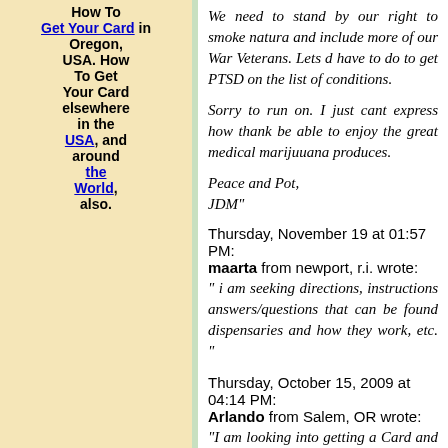How To Get Your Card in Oregon, USA. How To Get Your Card elsewhere in the USA, and around the World, also.
We need to stand by our right to smoke natura and include more of our War Veterans. Lets d have to do to get PTSD on the list of conditions.
Sorry to run on. I just cant express how thank be able to enjoy the great medical marijuuana produces.
Peace and Pot,
JDM"
Thursday, November 19 at 01:57 PM:
maarta from newport, r.i. wrote:
" i am seeking directions, instructions answers/questions that can be found dispensaries and how they work, etc. "
Thursday, October 15, 2009 at 04:14 PM:
Arlando from Salem, OR wrote:
"I am looking into getting a Card and was wo anyone could refer me to a doctor that deals sort of thing? Arlando.Aguilar@gmail.com T and take care"